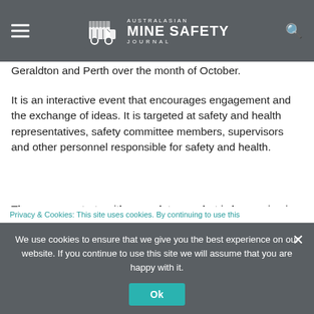Australasian Mine Safety Journal
Geraldton and Perth over the month of October.
It is an interactive event that encourages engagement and the exchange of ideas. It is targeted at safety and health representatives, safety committee members, supervisors and other personnel responsible for safety and health.
The program starts with an update on what is happening in mines safety and health in Western Australia from both regulatory and industry
Privacy & Cookies: This site uses cookies. By continuing to use this
We use cookies to ensure that we give you the best experience on our website. If you continue to use this site we will assume that you are happy with it.
Ok